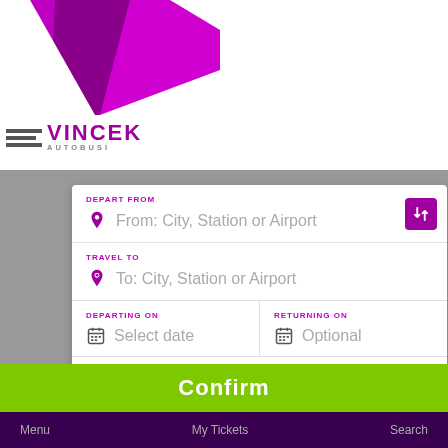[Figure (logo): Vincek Autobusi logo with purple V-shape graphic and horizontal lines beside the text VINCEK AUTOBUSI]
DEPART FROM
From: City, Station or Airport
TRAVEL TO
To: City, Station or Airport
DEPARTING ON
Select date
RETURNING ON
Optional
PASSENGERS
1 passenger
This website uses cookies. Click here to change Cookie preferences. If that's okay with you, click Confirm.
Confirm
Menu   My tickets   Search